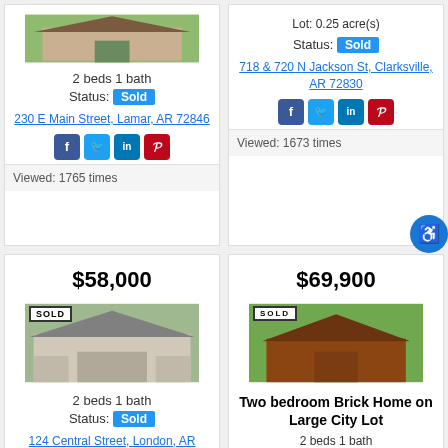[Figure (photo): House photo with green background, top-left card]
2 beds 1 bath
Status: Sold
230 E Main Street, Lamar, AR 72846
[Figure (other): Social media icons: Facebook, Twitter, LinkedIn, Pinterest]
Viewed: 1765 times
Lot: 0.25 acre(s)
Status: Sold
718 & 720 N Jackson St, Clarksville, AR 72830
[Figure (other): Social media icons: Facebook, Twitter, LinkedIn, Pinterest]
Viewed: 1673 times
$58,000
[Figure (photo): House photo with SOLD banner, white house]
2 beds 1 bath
Status: Sold
124 Central Street, London, AR
$69,900
[Figure (photo): House photo with SOLD banner, brick home on large lot]
Two bedroom Brick Home on Large City Lot
2 beds 1 bath
Interior: 1,512 sqft
Lot: 1.75 acre(s)